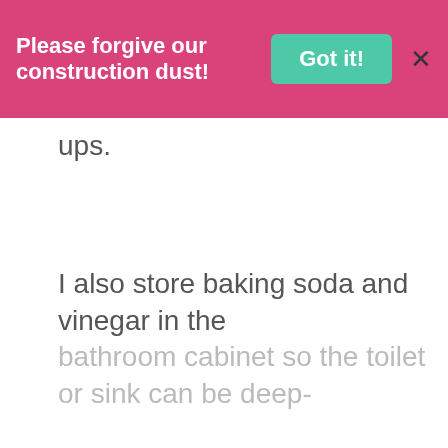Please forgive our construction dust! Got it! X
ups.
I also store baking soda and vinegar in the bathroom cabinet so the toilet or sink can be deep-